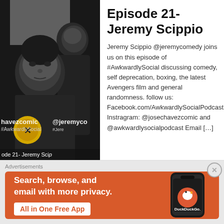[Figure (photo): Black and white photo of two men, one heavier-set man in front and a taller man behind, overlaid with text 'havezcomic #AwkwardlySocial', '@jeremyco', '#Jere', and 'ode 21- Jeremy Scip']
Episode 21- Jeremy Scippio
Jeremy Scippio @jeremycomedy joins us on this episode of #AwkwardlySocial discussing comedy, self deprecation, boxing, the latest Avengers film and general randomness. follow us: Facebook.com/AwkwardlySocialPodcast Instragram: @josechavezcomic and @awkwardlysocialpodcast Email […]
Advertisements
[Figure (screenshot): DuckDuckGo advertisement banner on orange background. Left side text: 'Search, browse, and email with more privacy.' with button 'All in One Free App'. Right side shows a phone mockup with DuckDuckGo logo and text 'DuckDuckGo.']